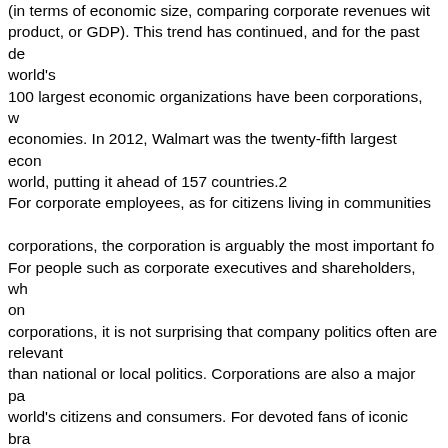(in terms of economic size, comparing corporate revenues with product, or GDP). This trend has continued, and for the past de world's 100 largest economic organizations have been corporations, w economies. In 2012, Walmart was the twenty-fifth largest econ world, putting it ahead of 157 countries.2 For corporate employees, as for citizens living in communities corporations, the corporation is arguably the most important fo For people such as corporate executives and shareholders, wh on corporations, it is not surprising that company politics often are relevant than national or local politics. Corporations are also a major pa world's citizens and consumers. For devoted fans of iconic bra Mercedes, or Louis Vuitton, the corporation can occupy a psychological ni that of a member of the family. Indeed, if many teenagers toda between an iPhone and a memorable night out celebrating thei parents would likely celebrate alone. Similarly, those parents mi with their cherished products. Dad would not easily say goodb Corvette or Bose stereo, and Mom might not be easily persuaded to pa